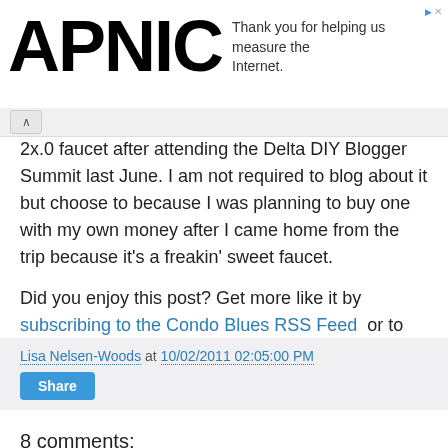[Figure (logo): APNIC logo with advertisement text: Thank you for helping us measure the Internet.]
2x.0 faucet after attending the Delta DIY Blogger Summit last June. I am not required to blog about it but choose to because I was planning to buy one with my own money after I came home from the trip because it's a freakin' sweet faucet.
Did you enjoy this post? Get more like it by subscribing to the Condo Blues RSS Feed or to Condo Blues by Email.
Lisa Nelsen-Woods at 10/02/2011 02:05:00 PM
8 comments:
Robj98168 said...
You know I was always taught never to cover the first